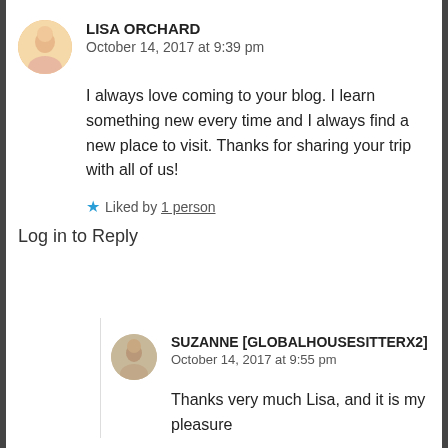LISA ORCHARD
October 14, 2017 at 9:39 pm
I always love coming to your blog. I learn something new every time and I always find a new place to visit. Thanks for sharing your trip with all of us!
★ Liked by 1 person
Log in to Reply
SUZANNE [GLOBALHOUSESITTERX2]
October 14, 2017 at 9:55 pm
Thanks very much Lisa, and it is my pleasure